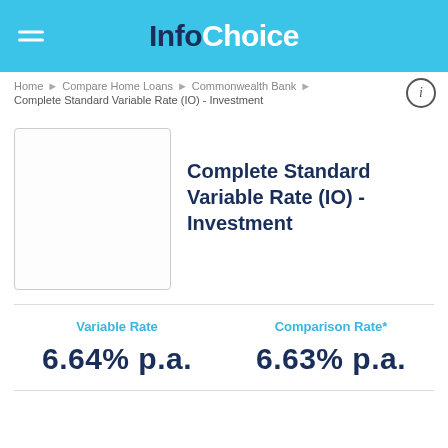InfoChoice
Home > Compare Home Loans > Commonwealth Bank > Complete Standard Variable Rate (IO) - Investment
[Figure (other): Blank product image placeholder box]
Complete Standard Variable Rate (IO) - Investment
Variable Rate
Comparison Rate*
6.64% p.a.
6.63% p.a.